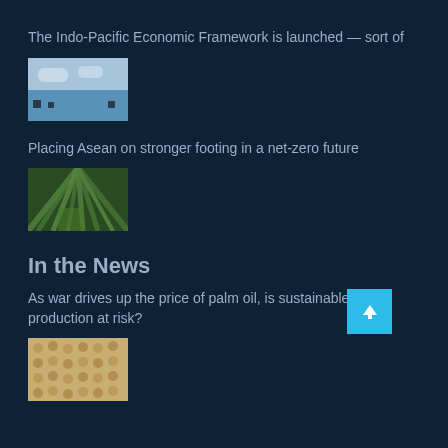The Indo-Pacific Economic Framework is launched — sort of
[Figure (photo): Boats on a calm water body with cloudy sky, harbor scene]
Placing Asean on stronger footing in a net-zero future
[Figure (photo): Close-up of green tropical palm leaves]
In the News
As war drives up the price of palm oil, is sustainable production at risk?
[Figure (photo): Aerial view of palm oil plantation, sandy/brown tones]